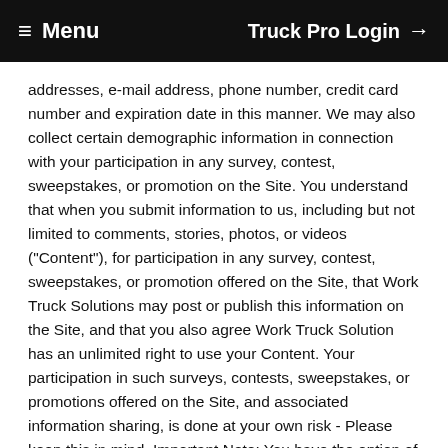≡ Menu    Truck Pro Login →
addresses, e-mail address, phone number, credit card number and expiration date in this manner. We may also collect certain demographic information in connection with your participation in any survey, contest, sweepstakes, or promotion on the Site. You understand that when you submit information to us, including but not limited to comments, stories, photos, or videos ("Content"), for participation in any survey, contest, sweepstakes, or promotion offered on the Site, that Work Truck Solutions may post or publish this information on the Site, and that you also agree Work Truck Solution has an unlimited right to use your Content. Your participation in such surveys, contests, sweepstakes, or promotions offered on the Site, and associated information sharing, is done at your own risk - Please keep this in mind. Important Note: You have the option of telling us how you wish to be identified in